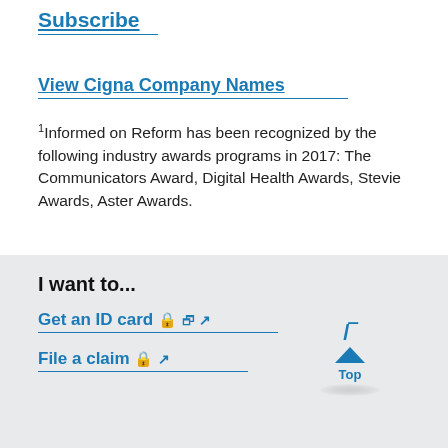Subscribe
View Cigna Company Names
1Informed on Reform has been recognized by the following industry awards programs in 2017: The Communicators Award, Digital Health Awards, Stevie Awards, Aster Awards.
I want to...
Get an ID card 🔒 ↗
File a claim 🔒 ↗